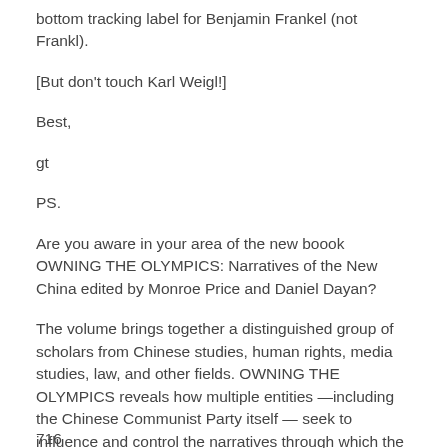bottom tracking label for Benjamin Frankel (not Frankl).
[But don't touch Karl Weigl!]
Best,
gt
PS.
Are you aware in your area of the new boook OWNING THE OLYMPICS: Narratives of the New China edited by Monroe Price and Daniel Dayan?
The volume brings together a distinguished group of scholars from Chinese studies, human rights, media studies, law, and other fields. OWNING THE OLYMPICS reveals how multiple entities —including the Chinese Communist Party itself — seek to influence and control the narratives through which the Beijing Games will be understood.
716